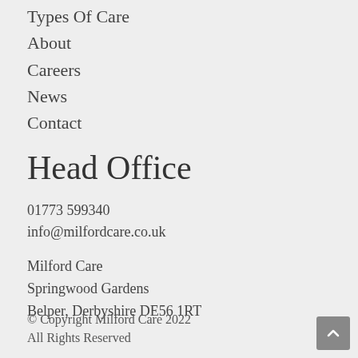Types Of Care
About
Careers
News
Contact
Head Office
01773 599340
info@milfordcare.co.uk
Milford Care
Springwood Gardens
Belper, Derbyshire DE56 1RT
© Copyright Milford Care 2022
All Rights Reserved